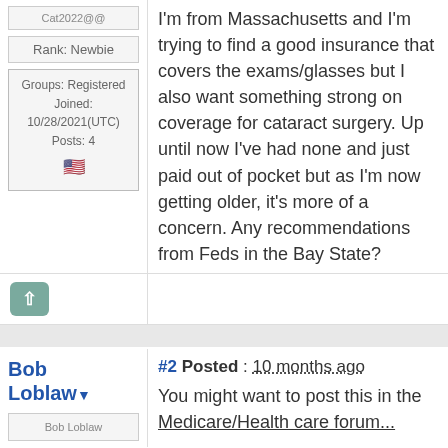[Figure (other): User avatar placeholder image for Cat2022@@]
Rank: Newbie
Groups: Registered
Joined: 10/28/2021(UTC)
Posts: 4
I'm from Massachusetts and I'm trying to find a good insurance that covers the exams/glasses but I also want something strong on coverage for cataract surgery. Up until now I've had none and just paid out of pocket but as I'm now getting older, it's more of a concern. Any recommendations from Feds in the Bay State?
[Figure (other): Upvote button arrow up]
Bob Loblaw
#2 Posted : 10 months ago
[Figure (other): User avatar placeholder image for Bob Loblaw]
You might want to post this in the Medicare/Health care forum...